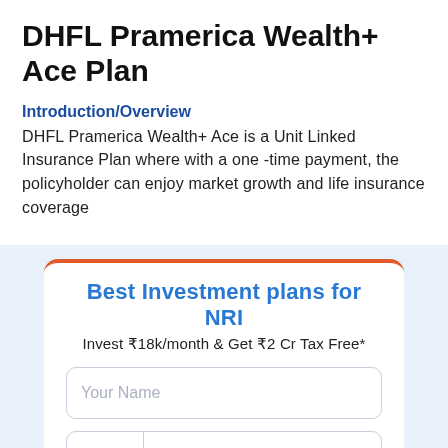DHFL Pramerica Wealth+ Ace Plan
Introduction/Overview
DHFL Pramerica Wealth+ Ace is a Unit Linked Insurance Plan where with a one -time payment, the policyholder can enjoy market growth and life insurance coverage
[Figure (infographic): Promotional card for 'Best Investment plans for NRI' with subtitle 'Invest ₹18k/month & Get ₹2 Cr Tax Free*', a 'Your Name' text input field, and a phone number input field with USA/C country code selector, +1 dial code, and 'Your Mobile' placeholder.]